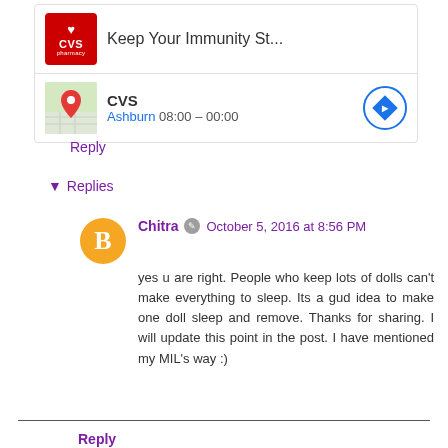[Figure (screenshot): CVS Pharmacy ad card with logo and 'Keep Your Immunity St...' headline, plus map thumbnail, CVS name, Ashburn 08:00–00:00 hours, and navigation arrow circle]
Reply
▾ Replies
Chitra  October 5, 2016 at 8:56 PM
yes u are right. People who keep lots of dolls can't make everything to sleep. Its a gud idea to make one doll sleep and remove. Thanks for sharing. I will update this point in the post. I have mentioned my MIL's way :)
Reply